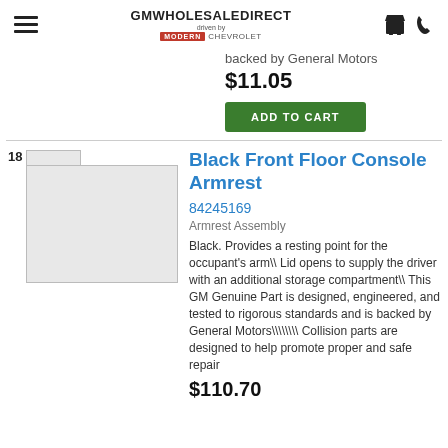GMWHOLESALEDIRECT driven by MODERN CHEVROLET
backed by General Motors
$11.05
ADD TO CART
[Figure (photo): Product image placeholder with item number 18]
Black Front Floor Console Armrest
84245169
Armrest Assembly
Black. Provides a resting point for the occupant's arm\ Lid opens to supply the driver with an additional storage compartment\ This GM Genuine Part is designed, engineered, and tested to rigorous standards and is backed by General Motors\\\\\ Collision parts are designed to help promote proper and safe repair
$110.70